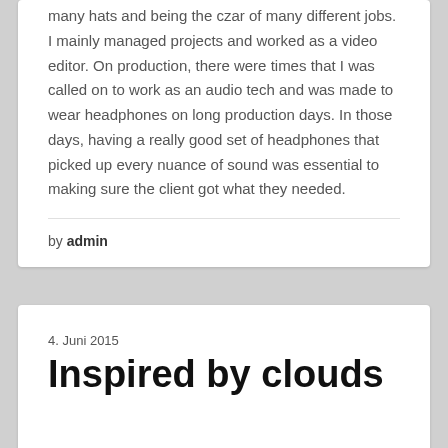many hats and being the czar of many different jobs. I mainly managed projects and worked as a video editor. On production, there were times that I was called on to work as an audio tech and was made to wear headphones on long production days. In those days, having a really good set of headphones that picked up every nuance of sound was essential to making sure the client got what they needed.
by admin
4. Juni 2015
Inspired by clouds